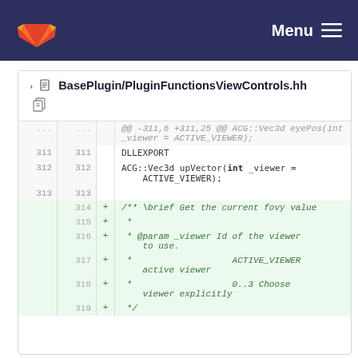Menu
BasePlugin/PluginFunctionsViewControls.hh
| old | new | + | code |
| --- | --- | --- | --- |
| ... | ... |  | @@ -311,6 +311,25 @@ ACG::Vec3d eyePos(int _viewer = ACTIVE_VIEWER); |
| 311 | 311 |  | DLLEXPORT |
| 312 | 312 |  | ACG::Vec3d upVector(int _viewer = ACTIVE_VIEWER); |
| 313 | 313 |  |  |
|  | 314 | + | /** \brief Get the current fovy value |
|  | 315 | + | * |
|  | 316 | + | * @param _viewer Id of the viewer to use. |
|  | 317 | + | *                    ACTIVE_VIEWER active viewer |
|  | 318 | + | *                    0..3 Choose viewer explicitly |
|  | 319 | + | */ |